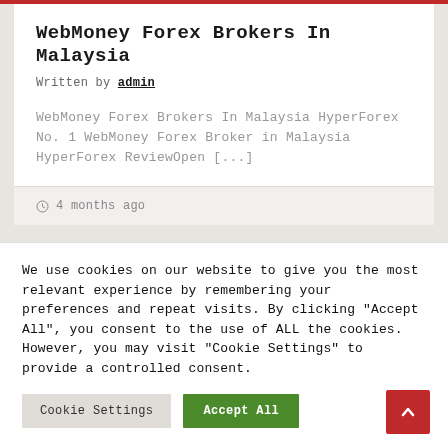WebMoney Forex Brokers In Malaysia
Written by admin
WebMoney Forex Brokers In Malaysia HyperForex No. 1 WebMoney Forex Broker in Malaysia HyperForex ReviewOpen [...]
4 months ago
We use cookies on our website to give you the most relevant experience by remembering your preferences and repeat visits. By clicking "Accept All", you consent to the use of ALL the cookies. However, you may visit "Cookie Settings" to provide a controlled consent.